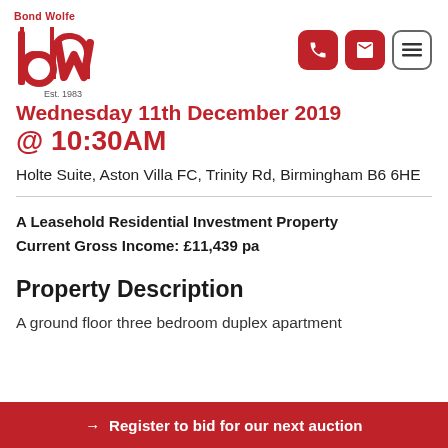[Figure (logo): Bond Wolfe logo with red 'bw' stylized letters and 'Est. 1983' text below]
Wednesday 11th December 2019 @ 10:30AM
Holte Suite, Aston Villa FC, Trinity Rd, Birmingham B6 6HE
A Leasehold Residential Investment Property
Current Gross Income: £11,439 pa
Property Description
A ground floor three bedroom duplex apartment
→ Register to bid for our next auction